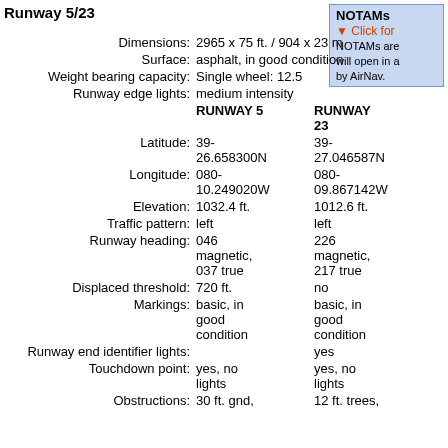Runway 5/23
NOTAMs
Click for
NOTAMs are
will open in a
by AirNav.
|  | RUNWAY 5 | RUNWAY 23 |
| --- | --- | --- |
| Dimensions: | 2965 x 75 ft. / 904 x 23 m |  |
| Surface: | asphalt, in good condition |  |
| Weight bearing capacity: | Single wheel: 12.5 |  |
| Runway edge lights: | medium intensity |  |
| Latitude: | 39-
26.658300N | 39-
27.046587N |
| Longitude: | 080-
10.249020W | 080-
09.867142W |
| Elevation: | 1032.4 ft. | 1012.6 ft. |
| Traffic pattern: | left | left |
| Runway heading: | 046 magnetic, 037 true | 226 magnetic, 217 true |
| Displaced threshold: | 720 ft. | no |
| Markings: | basic, in good condition | basic, in good condition |
| Runway end identifier lights: |  | yes |
| Touchdown point: | yes, no lights | yes, no lights |
| Obstructions: | 30 ft. gnd, | 12 ft. trees, |